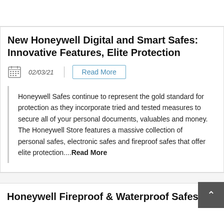New Honeywell Digital and Smart Safes: Innovative Features, Elite Protection
02/03/21
Read More
Honeywell Safes continue to represent the gold standard for protection as they incorporate tried and tested measures to secure all of your personal documents, valuables and money. The Honeywell Store features a massive collection of personal safes, electronic safes and fireproof safes that offer elite protection....Read More
Honeywell Fireproof & Waterproof Safes: 3-in-